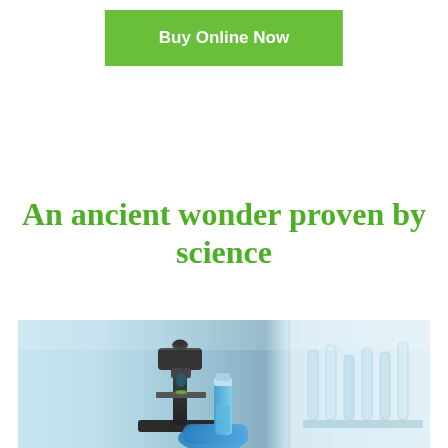[Figure (other): Green 'Buy Online Now' button with white bold text on a green (#6abf3a) rectangular background]
An ancient wonder proven by science
[Figure (photo): Laboratory scene with two panels side by side: left panel shows a microscope with a green plant sample, center/foreground shows blue-gloved hands holding a vial, right panel shows laboratory glassware/test tubes in soft focus. Blue and white tones throughout.]